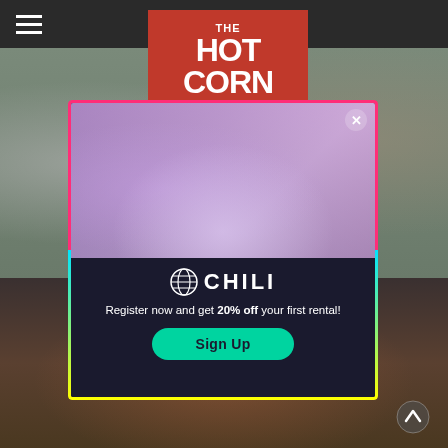[Figure (screenshot): The Hot Corn website screenshot with CHILI advertisement popup overlay. Header shows hamburger menu and THE HOT CORN logo on dark bar. Background shows blurred film scene photos. Popup ad features family watching laptop with CHILI streaming service logo, text 'Register now and get 20% off your first rental!' and a Sign Up button.]
Register now and get 20% off your first rental!
Sign Up